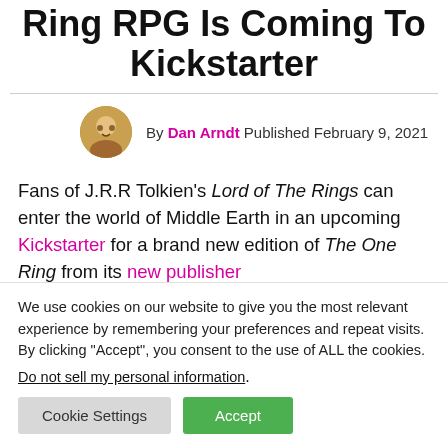Ring RPG Is Coming To Kickstarter
By Dan Arndt Published February 9, 2021
Fans of J.R.R Tolkien's Lord of The Rings can enter the world of Middle Earth in an upcoming Kickstarter for a brand new edition of The One Ring from its new publisher
We use cookies on our website to give you the most relevant experience by remembering your preferences and repeat visits. By clicking “Accept”, you consent to the use of ALL the cookies.
Do not sell my personal information.